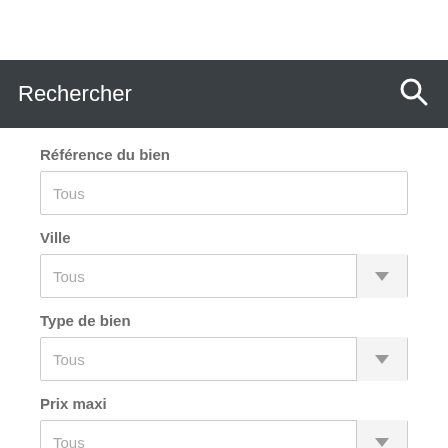Rechercher
Référence du bien
Tous
Ville
Tous
Type de bien
Tous
Prix maxi
Tous
Rechercher